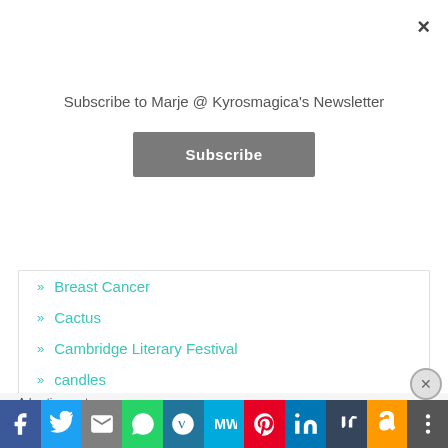Subscribe to Marje @ Kyrosmagica's Newsletter
Subscribe
Breast Cancer
Cactus
Cambridge Literary Festival
candles
Carrot Ranch Literary Community
Cats and Friends
Charities
Cherished BlogFest
Advertisements
Search, browse, and email with more privacy.